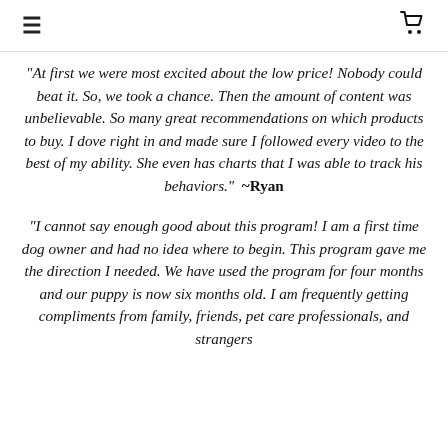≡  🛒
"At first we were most excited about the low price! Nobody could beat it. So, we took a chance. Then the amount of content was unbelievable. So many great recommendations on which products to buy. I dove right in and made sure I followed every video to the best of my ability. She even has charts that I was able to track his behaviors."  ~Ryan
"I cannot say enough good about this program! I am a first time dog owner and had no idea where to begin. This program gave me the direction I needed. We have used the program for four months and our puppy is now six months old. I am frequently getting compliments from family, friends, pet care professionals, and strangers